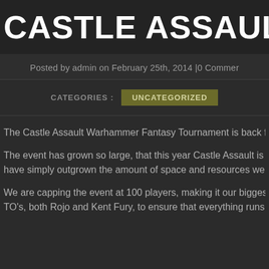CASTLE ASSAULT 2014
Posted by admin on February 25th, 2014 |0 Comments
CATEGORIES : UNCATEGORIZED
The Castle Assault Warhammer Fantasy Tournament is back fo...
The event has grown so large, that this year Castle Assault is so... have simply outgrown the amount of space and resources we h...
We are capping the event at 100 players, making it our biggest y... TO's, both Rojo and Kent Fury, to ensure that everything runs s...